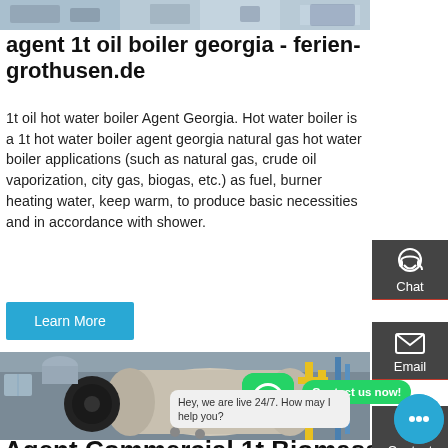[Figure (photo): Top banner photo of industrial boiler equipment in a facility]
agent 1t oil boiler georgia - ferien-grothusen.de
1t oil hot water boiler Agent Georgia. Hot water boiler is a 1t hot water boiler agent georgia natural gas hot water boiler applications (such as natural gas, crude oil vaporization, city gas, biogas, etc.) as fuel, burner heating water, keep warm, to produce basic necessities and in accordance with shower.
Learn More
[Figure (photo): Industrial oil/gas fired boiler with black burner assembly, tanks and yellow piping in a factory]
[Figure (photo): WhatsApp icon button (green rounded square)]
Contact us now!
Hey, we are live 24/7. How may I help you?
Agent Commercial 1t Biomass Boiler